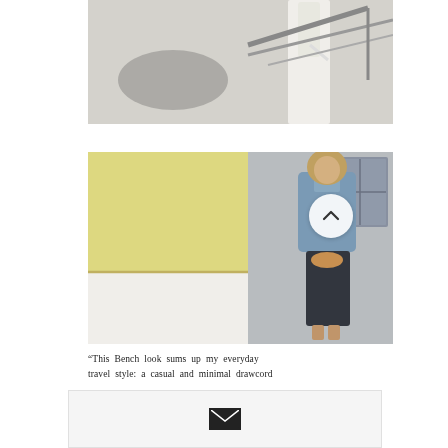[Figure (photo): Woman in white dress standing near metal railing structure, outdoor setting, light background]
[Figure (photo): Woman in denim jacket and dark skirt leaning against a yellow and white wall, outdoor urban setting]
“This Bench look sums up my everyday travel style: a casual and minimal drawcord
[Figure (other): Email subscription banner with envelope icon]